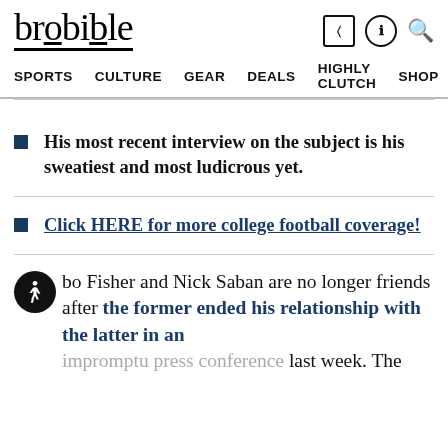brobible
SPORTS   CULTURE   GEAR   DEALS   HIGHLY CLUTCH   SHOP >
His most recent interview on the subject is his sweatiest and most ludicrous yet.
Click HERE for more college football coverage!
bo Fisher and Nick Saban are no longer friends after the former ended his relationship with the latter in an impromptu press conference last week. The